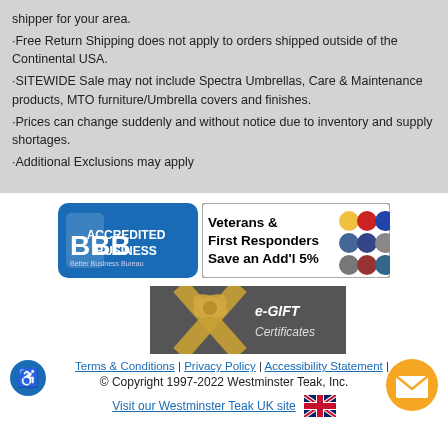shipper for your area.
·Free Return Shipping does not apply to orders shipped outside of the Continental USA.
·SITEWIDE Sale may not include Spectra Umbrellas, Care & Maintenance products, MTO furniture/Umbrella covers and finishes.
·Prices can change suddenly and without notice due to inventory and supply shortages.
·Additional Exclusions may apply
[Figure (logo): BBB Accredited Business badge (blue rounded rectangle)]
[Figure (infographic): Veterans & First Responders Save an Add'l 5% badge with military branch icons]
[Figure (infographic): e-GIFT Certificates banner with gold ribbon on dark background]
Terms & Conditions | Privacy Policy | Accessibility Statement | © Copyright 1997-2022 Westminster Teak, Inc.
Visit our Westminster Teak UK site 🇬🇧